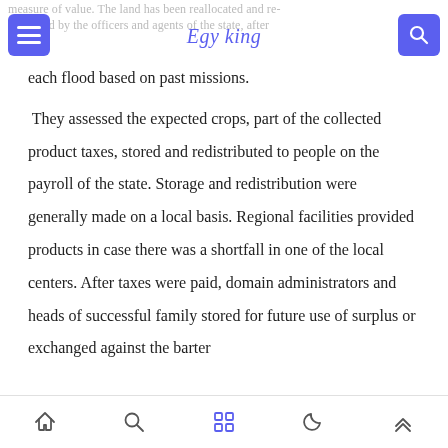measure of value. The land has been reallocated and re-measured by the officers and agents of the state, after
each flood based on past missions.
They assessed the expected crops, part of the collected product taxes, stored and redistributed to people on the payroll of the state. Storage and redistribution were generally made on a local basis. Regional facilities provided products in case there was a shortfall in one of the local centers. After taxes were paid, domain administrators and heads of successful family stored for future use of surplus or exchanged against the barter